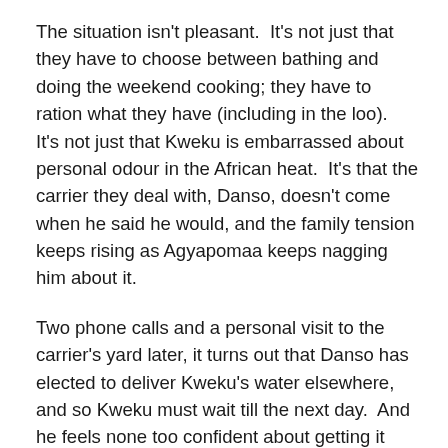The situation isn't pleasant.  It's not just that they have to choose between bathing and doing the weekend cooking; they have to ration what they have (including in the loo).  It's not just that Kweku is embarrassed about personal odour in the African heat.  It's that the carrier they deal with, Danso, doesn't come when he said he would, and the family tension keeps rising as Agyapomaa keeps nagging him about it.
Two phone calls and a personal visit to the carrier's yard later, it turns out that Danso has elected to deliver Kweku's water elsewhere, and so Kweku must wait till the next day.  And he feels none too confident about getting it even then – because Danso is still making the same kinds of indeterminate noises as before…